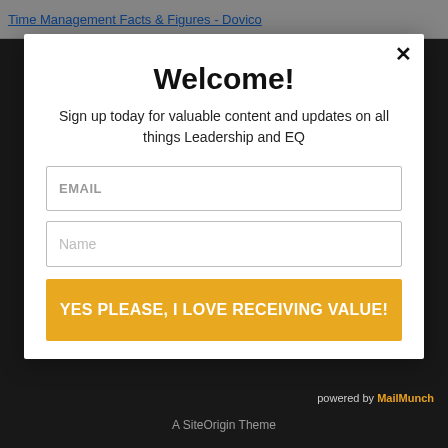Time Management Facts & Figures - Dovico
Welcome!
Sign up today for valuable content and updates on all things Leadership and EQ
YES PLEASE, I LOVE RECEIVING VALUE!
powered by MailMunch
A SiteOrigin Theme